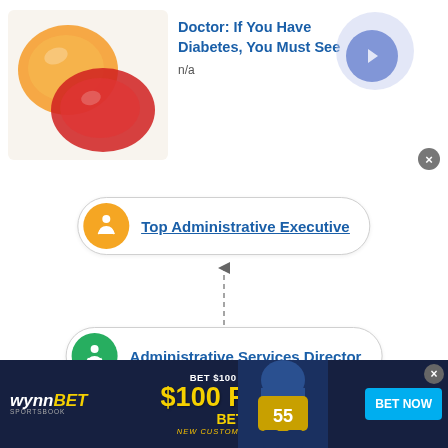[Figure (screenshot): Advertisement banner: colorful gummy candy image on left, bold blue text 'Doctor: If You Have Diabetes, You Must See' with 'n/a' below, blue circular arrow button on right, and close X button.]
[Figure (flowchart): Organizational chart showing two nodes connected by a dashed upward arrow. Top node (yellow icon): 'Top Administrative Executive'. Bottom node (green icon): 'Administrative Services Director'. Arrow pointing upward from bottom to top node.]
This site uses cookies and other similar technologies to provide site functionality, analyze traffic and usage, and
[Figure (screenshot): WynnBET Sportsbook advertisement: 'BET $100 & GET $100 FREE BET NEW CUSTOMERS ONLY' with football player image and 'BET NOW' button.]